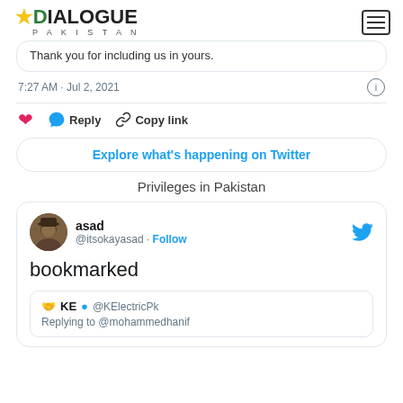DIALOGUE PAKISTAN
Thank you for including us in yours.
7:27 AM · Jul 2, 2021
Reply  Copy link
Explore what's happening on Twitter
Privileges in Pakistan
asad @itsokayasad · Follow
bookmarked
KE @KElectricPk Replying to @mohammedhanif